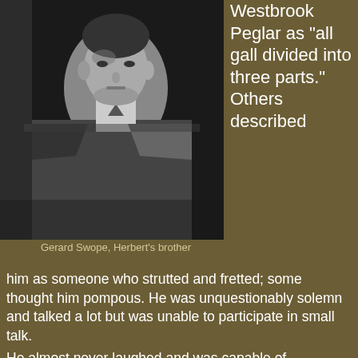[Figure (photo): Black and white photograph of Gerard Swope, Herbert's brother, dressed in a suit]
Gerard Swope, Herbert's brother
Westbrook Peglar as “all gall divided into three parts.” Others described him as someone who strutted and fretted; some thought him pompous.  He was unquestionably solemn and talked a lot but was unable to participate in small talk.
He almost never laughed and was capable of extraordinary kindness or extreme rudeness.  Outwardly, he was stately, suave, and unshakably self-confident.  Inwardly, he was in constant turmoil and thin-skinned, perceiving real and imagined slights.
	An avid party-giver, who insisted that everyone rise when he entered the room, Swope’s parties at his Sands